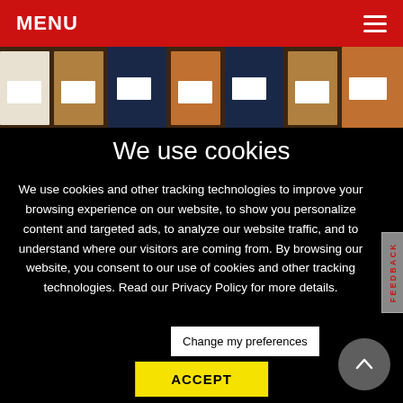MENU
[Figure (photo): Row of wooden cabinet or furniture samples with white label tags, photographed from above/front in a showroom setting.]
We use cookies
We use cookies and other tracking technologies to improve your browsing experience on our website, to show you personalize content and targeted ads, to analyze our website traffic, and to understand where our visitors are coming from. By browsing our website, you consent to our use of cookies and other tracking technologies. Read our Privacy Policy for more details.
Change my preferences
ACCEPT